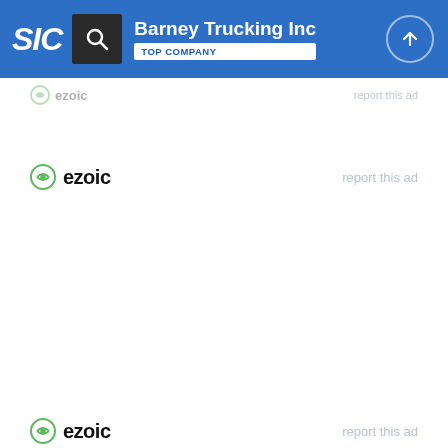SIC | Barney Trucking Inc | TOP COMPANY
[Figure (screenshot): Ezoic ad placeholder with ezoic logo and 'report this ad' link (partially visible at top)]
[Figure (screenshot): Ezoic ad placeholder with ezoic logo and 'report this ad' link]
[Figure (screenshot): Ezoic ad placeholder with ezoic logo and 'report this ad' link at bottom]